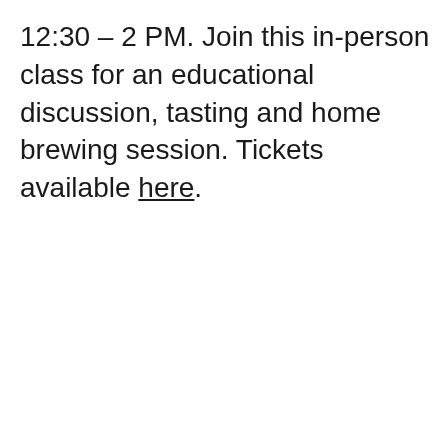12:30 – 2 PM. Join this in-person class for an educational discussion, tasting and home brewing session. Tickets available here.